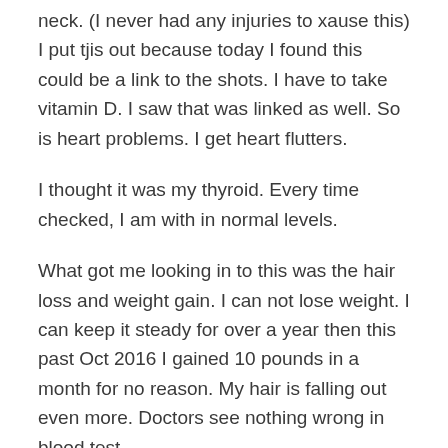neck. (I never had any injuries to xause this) I put tjis out because today I found this could be a link to the shots. I have to take vitamin D. I saw that was linked as well. So is heart problems. I get heart flutters.
I thought it was my thyroid. Every time checked, I am with in normal levels.
What got me looking in to this was the hair loss and weight gain. I can not lose weight. I can keep it steady for over a year then this past Oct 2016 I gained 10 pounds in a month for no reason. My hair is falling out even more. Doctors see nothing wrong in blood test.
I was a sexy happy blonde. Now I have cyst acne (never had ance big problem until the shot) I am fat and thin hair.